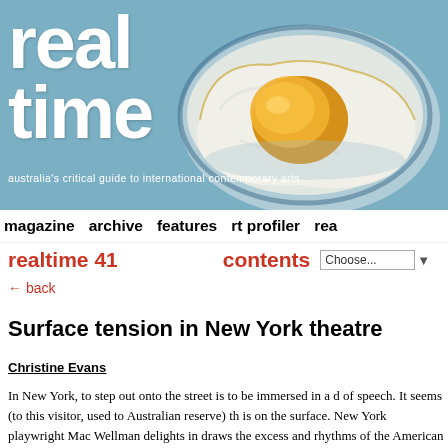[Figure (illustration): RealTime magazine website header banner with a painted fried egg on a plate against a blue-grey background, with the 'real time' logo in large white bold text and tagline 'australia’s critical guide to international contemporary arts']
magazine  archive  features  rt profiler  rea
realtime 41
contents
← back
Surface tension in New York theatre
Christine Evans
In New York, to step out onto the street is to be immersed in a d of speech. It seems (to this visitor, used to Australian reserve) th is on the surface. New York playwright Mac Wellman delights in draws the excess and rhythms of the American everyday into hi